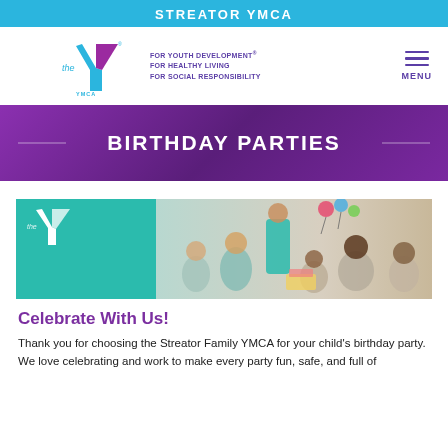STREATOR YMCA
[Figure (logo): YMCA logo with Y symbol and taglines: FOR YOUTH DEVELOPMENT, FOR HEALTHY LIVING, FOR SOCIAL RESPONSIBILITY. Menu icon on the right.]
BIRTHDAY PARTIES
[Figure (photo): Birthday party scene at the YMCA with children and adults celebrating. Teal YMCA logo overlay on left side.]
Celebrate With Us!
Thank you for choosing the Streator Family YMCA for your child's birthday party. We love celebrating and work to make every party fun, safe, and full of